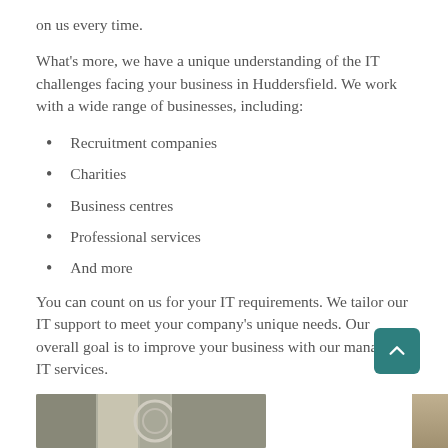on us every time.
What's more, we have a unique understanding of the IT challenges facing your business in Huddersfield. We work with a wide range of businesses, including:
Recruitment companies
Charities
Business centres
Professional services
And more
You can count on us for your IT requirements. We tailor our IT support to meet your company's unique needs. Our overall goal is to improve your business with our managed IT services.
[Figure (photo): Partial view of two photos at the bottom of the page — left shows architectural/building imagery, right shows a narrow partial image]